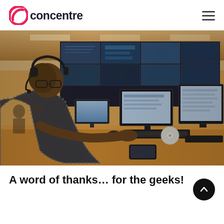concentre
[Figure (photo): A person wearing a headset and checkered shirt working at a multi-monitor workstation in a control room environment, with a large video wall displaying multiple screens in the background and other workers visible in the distance.]
A word of thanks… for the geeks!